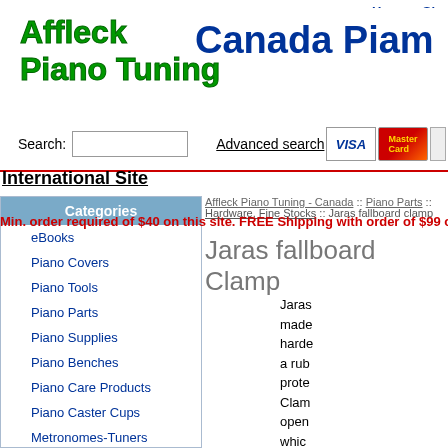Home  Sh
[Figure (logo): Affleck Piano Tuning logo in green bold text, and Canada Piam... (Canada Piano) logo in dark blue bold text]
Search:  Advanced search  [VISA] [MasterCard]
International Site
Min. order required of $40 on this site. FREE Shipping with order of $99 o
eBooks
Piano Covers
Piano Tools
Piano Parts
Piano Supplies
Piano Benches
Piano Care Products
Piano Caster Cups
Metronomes-Tuners
Trucks & Dollies
Affleck Piano Tuning - Canada :: Piano Parts :: Hardware, Fine Stocks :: Jaras fallboard clamp
Jaras fallboard Clamp
Jaras made harde a rub prote Clam open whic any t fallbo is pro insta small The c